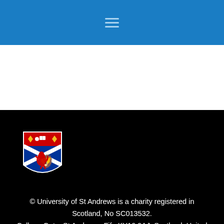[Figure (logo): University of St Andrews coat of arms / shield logo]
© University of St Andrews is a charity registered in Scotland, No SC013532. College Gate, St Andrews, Fife KY16 9AJ, Scotland, United Kingdom.